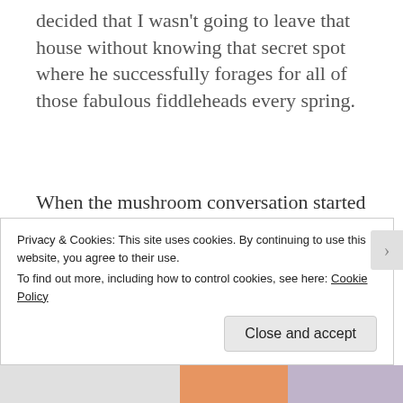decided that I wasn't going to leave that house without knowing that secret spot where he successfully forages for all of those fabulous fiddleheads every spring.
When the mushroom conversation started to slow and I could sense that my companions had learned a lot about fungi and were very happy to have a few great leads on where to
Privacy & Cookies: This site uses cookies. By continuing to use this website, you agree to their use.
To find out more, including how to control cookies, see here: Cookie Policy
Close and accept